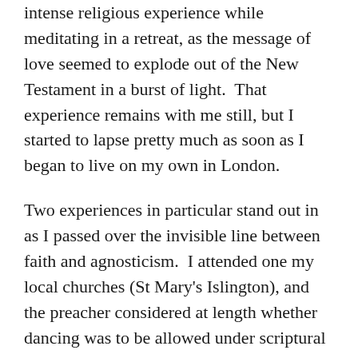intense religious experience while meditating in a retreat, as the message of love seemed to explode out of the New Testament in a burst of light.  That experience remains with me still, but I started to lapse pretty much as soon as I began to live on my own in London.
Two experiences in particular stand out in as I passed over the invisible line between faith and agnosticism.  I attended one my local churches (St Mary's Islington), and the preacher considered at length whether dancing was to be allowed under scriptural rules.  Although he came to the right answer so far as I was concerned (yes), I was appalled by the idea that talking about these sorts of rules was an important part of church life.  In a second instance I visited a packed evangelical service in Nottingham with a